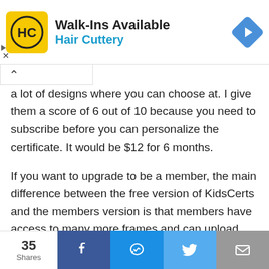[Figure (logo): Hair Cuttery advertisement banner with HC logo in yellow square, 'Walk-Ins Available' title, 'Hair Cuttery' subtitle in blue, and blue navigation diamond icon]
a lot of designs where you can choose at. I give them a score of 6 out of 10 because you need to subscribe before you can personalize the certificate. It would be $12 for 6 months.
If you want to upgrade to be a member, the main difference between the free version of KidsCerts and the members version is that members have access to many more frames and can upload personalized background graphics, like logos and mascots. Another cool feature subscribers have is that they can print up to 50 awards at once, for times when the different people are receiving the
[Figure (infographic): Share bar at bottom showing 35 Shares with Facebook, Messenger, Twitter, and Email share buttons]